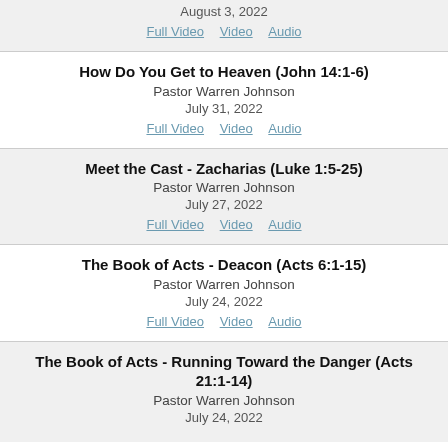August 3, 2022
Full Video  Video  Audio
How Do You Get to Heaven (John 14:1-6)
Pastor Warren Johnson
July 31, 2022
Full Video  Video  Audio
Meet the Cast - Zacharias (Luke 1:5-25)
Pastor Warren Johnson
July 27, 2022
Full Video  Video  Audio
The Book of Acts - Deacon (Acts 6:1-15)
Pastor Warren Johnson
July 24, 2022
Full Video  Video  Audio
The Book of Acts - Running Toward the Danger (Acts 21:1-14)
Pastor Warren Johnson
July 24, 2022